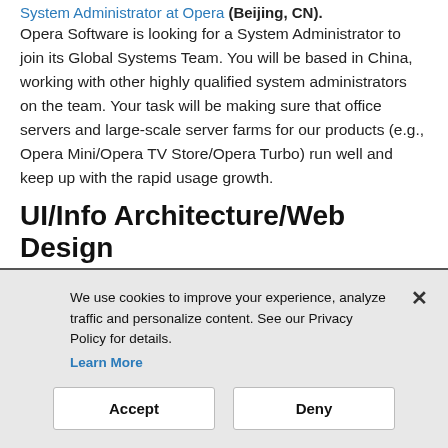System Administrator at Opera (Beijing, CN). Opera Software is looking for a System Administrator to join its Global Systems Team. You will be based in China, working with other highly qualified system administrators on the team. Your task will be making sure that office servers and large-scale server farms for our products (e.g., Opera Mini/Opera TV Store/Opera Turbo) run well and keep up with the rapid usage growth.
UI/Info Architecture/Web Design
Web and Mobile Designer at RadiumOne (San Francisco,
We use cookies to improve your experience, analyze traffic and personalize content. See our Privacy Policy for details.
Learn More
Accept    Deny